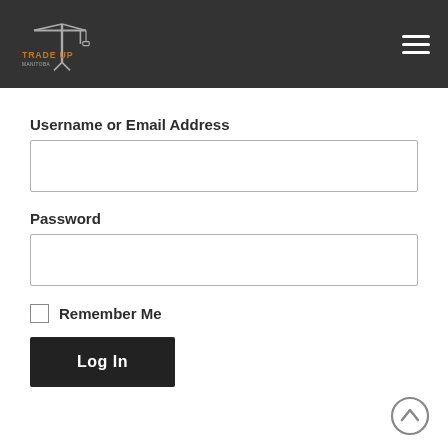Trade Up Manitoba — navigation header with logo and hamburger menu
Username or Email Address
Password
Remember Me
Log In